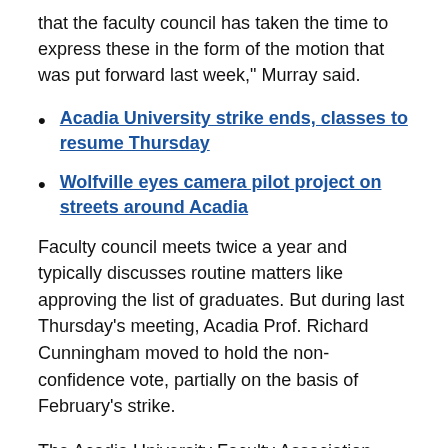that the faculty council has taken the time to express these in the form of the motion that was put forward last week," Murray said.
Acadia University strike ends, classes to resume Thursday
Wolfville eyes camera pilot project on streets around Acadia
Faculty council meets twice a year and typically discusses routine matters like approving the list of graduates. But during last Thursday's meeting, Acadia Prof. Richard Cunningham moved to hold the non-confidence vote, partially on the basis of February's strike.
The Acadia University Faculty Association went on